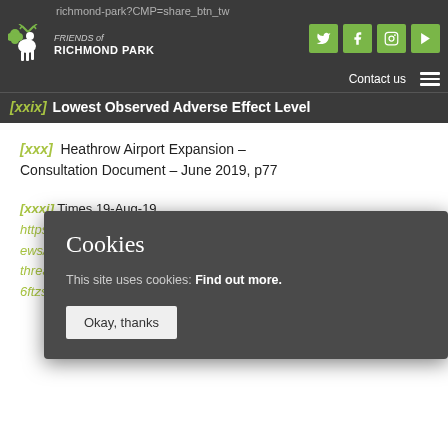richmond-park?CMP=share_btn_tw
[Figure (screenshot): Friends of Richmond Park logo with deer illustration]
Contact us | social icons (Twitter, Facebook, Instagram, YouTube)
[xxix] Lowest Observed Adverse Effect Level
[xxx] Heathrow Airport Expansion – Consultation Document – June 2019, p77
[xxxi] Times 19-Aug-19 https://w...ews/hea...threaten...6ftzsbjg...
Cookies
This site uses cookies: Find out more.
Okay, thanks